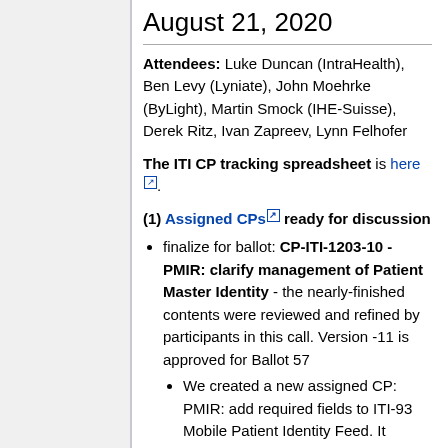August 21, 2020
Attendees: Luke Duncan (IntraHealth), Ben Levy (Lyniate), John Moehrke (ByLight), Martin Smock (IHE-Suisse), Derek Ritz, Ivan Zapreev, Lynn Felhofer
The ITI CP tracking spreadsheet is here.
(1) Assigned CPs ready for discussion
finalize for ballot: CP-ITI-1203-10 - PMIR: clarify management of Patient Master Identity - the nearly-finished contents were reviewed and refined by participants in this call. Version -11 is approved for Ballot 57
We created a new assigned CP: PMIR: add required fields to ITI-93 Mobile Patient Identity Feed. It